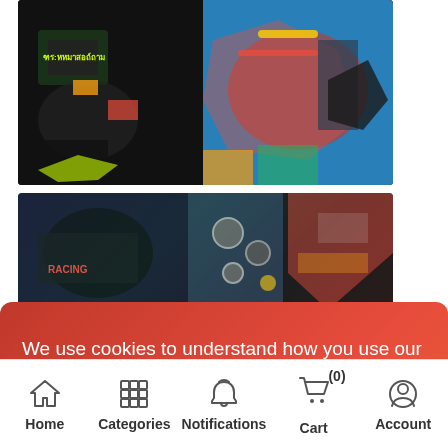[Figure (screenshot): Mobile e-commerce app showing product images with graphic t-shirts and motorcycle imagery, partially obscured by a cookie consent overlay]
We use cookies to understand how you use our website and to improve your experience. This includes personalizing content and advertising. To learn more, please click Here. By continuing to use our website, you accept our use of cookies, Privacy policy and terms & conditions.
[Figure (other): I agree button - orange rounded button for cookie consent]
Home   Categories   Notifications   Cart (0)   Account